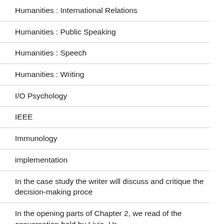Humanities : International Relations
Humanities : Public Speaking
Humanities : Speech
Humanities : Writing
I/O Psychology
IEEE
Immunology
implementation
In the case study the writer will discuss and critique the decision-making proce
In the opening parts of Chapter 2, we read of the conversation held by Livia, Ur